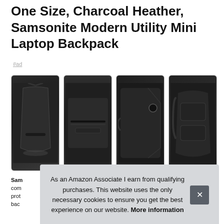One Size, Charcoal Heather, Samsonite Modern Utility Mini Laptop Backpack
#ad
[Figure (photo): Four product photos of a dark charcoal heather Samsonite Modern Utility Mini Laptop Backpack shown from different angles: front/side view, front panel close-up, side view with handle, and rear/shoulder strap view.]
Samsonite combines contemporary styling with protective function for this mini laptop backpack.
As an Amazon Associate I earn from qualifying purchases. This website uses the only necessary cookies to ensure you get the best experience on our website. More information